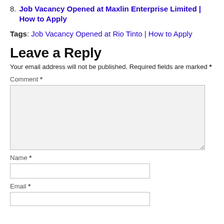8. Job Vacancy Opened at Maxlin Enterprise Limited | How to Apply
Tags: Job Vacancy Opened at Rio Tinto | How to Apply
Leave a Reply
Your email address will not be published. Required fields are marked *
Comment *
Name *
Email *